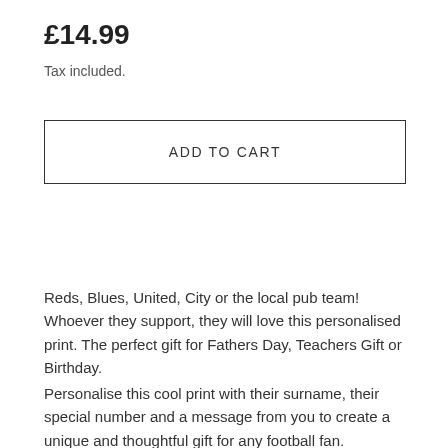£14.99
Tax included.
ADD TO CART
Reds, Blues, United, City or the local pub team! Whoever they support, they will love this personalised print. The perfect gift for Fathers Day, Teachers Gift or Birthday.
Personalise this cool print with their surname, their special number and a message from you to create a unique and thoughtful gift for any football fan.